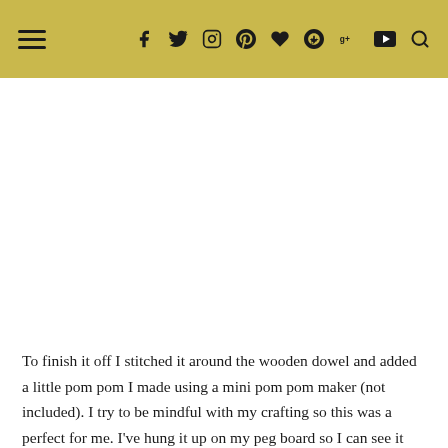≡ f t ⊡ ⊕ ♥ g+ ▶ 🔍
To finish it off I stitched it around the wooden dowel and added a little pom pom I made using a mini pom pom maker (not included). I try to be mindful with my crafting so this was a perfect for me. I've hung it up on my peg board so I can see it